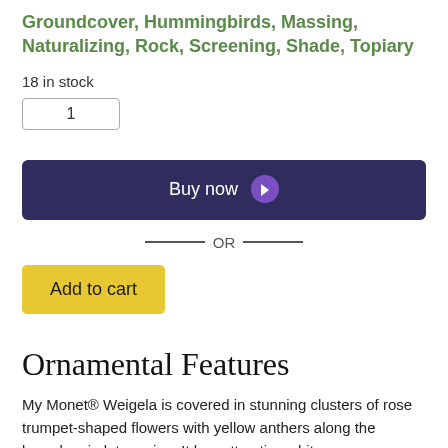Groundcover, Hummingbirds, Massing, Naturalizing, Rock, Screening, Shade, Topiary
18 in stock
1
Buy now
— OR —
Add to cart
Ornamental Features
My Monet® Weigela is covered in stunning clusters of rose trumpet-shaped flowers with yellow anthers along the branches in late spring. It has attractive white-